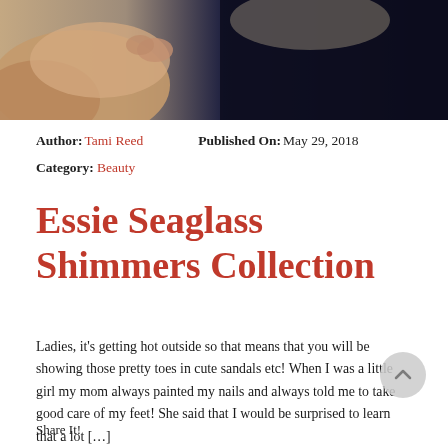[Figure (photo): Close-up photograph of a hand holding something against a dark navy background, partially cropped at top of page]
Author: Tami Reed   Published On: May 29, 2018
Category: Beauty
Essie Seaglass Shimmers Collection
Ladies, it's getting hot outside so that means that you will be showing those pretty toes in cute sandals etc! When I was a little girl my mom always painted my nails and always told me to take good care of my feet! She said that I would be surprised to learn that a lot […]
Share It!